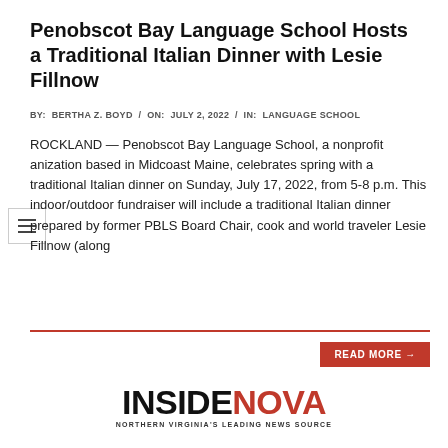Penobscot Bay Language School Hosts a Traditional Italian Dinner with Lesie Fillnow
BY: BERTHA Z. BOYD / ON: JULY 2, 2022 / IN: LANGUAGE SCHOOL
ROCKLAND — Penobscot Bay Language School, a nonprofit anization based in Midcoast Maine, celebrates spring with a traditional Italian dinner on Sunday, July 17, 2022, from 5-8 p.m. This indoor/outdoor fundraiser will include a traditional Italian dinner prepared by former PBLS Board Chair, cook and world traveler Lesie Fillnow (along
READ MORE →
[Figure (logo): InsideNova logo — INSIDE in black bold, NOVA in red bold, tagline: NORTHERN VIRGINIA'S LEADING NEWS SOURCE]